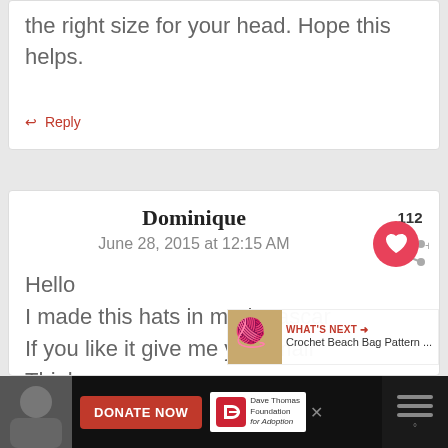the right size for your head. Hope this helps.
↩ Reply
Dominique
June 28, 2015 at 12:15 AM
Hello
I made this hats in madagascar
If you like it give me your mail
Thinks
[Figure (other): Heart like button (red circle with heart icon) and share button, with count 112]
[Figure (other): What's Next panel: Crochet Beach Bag Pattern ...]
[Figure (other): Advertisement bar at bottom: photo of woman, DONATE NOW red button, Dave Thomas Foundation for Adoption logo, close X button]